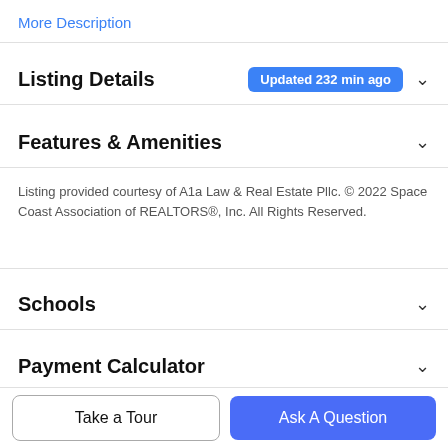More Description
Listing Details Updated 232 min ago
Features & Amenities
Listing provided courtesy of A1a Law & Real Estate Pllc. © 2022 Space Coast Association of REALTORS®, Inc. All Rights Reserved.
Schools
Payment Calculator
Contact Agent
Take a Tour
Ask A Question